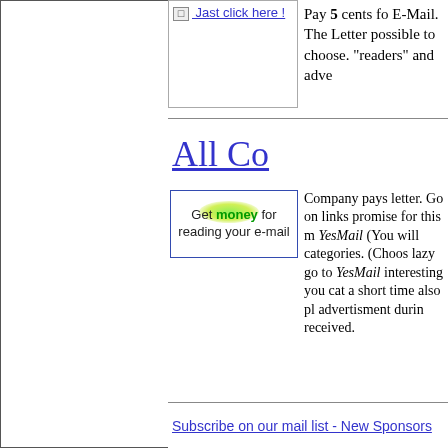[Figure (other): Broken image icon with link text 'Jast click here !' in blue underlined text]
Pay 5 cents fo E-Mail. The Letter possible to choose. "readers" and adve
All Co
[Figure (other): Ad banner with text 'Get money for reading your e-mail' with green glow effect on the word 'money']
Company pays letter. Go on links promise for this m YesMail (You will categories. (Choos lazy go to YesMail interesting you cat a short time also pl advertisment durin received.
Subscribe on our mail list - New Sponsors